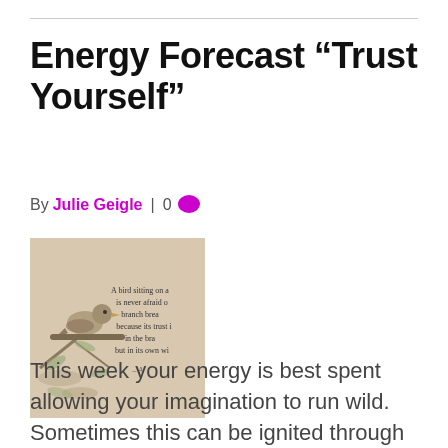Energy Forecast “Trust Yourself”
By Julie Geigle | 0
[Figure (photo): Illustration of a bird sitting on a branch with a quote: 'A bird sitting on a branch is never afraid of the branch breaking because its trust is not in the branch but in its own wings. – A...']
This week your energy is best spent allowing your imagination to run wild. Sometimes this can be ignited through play and adventure. Be...